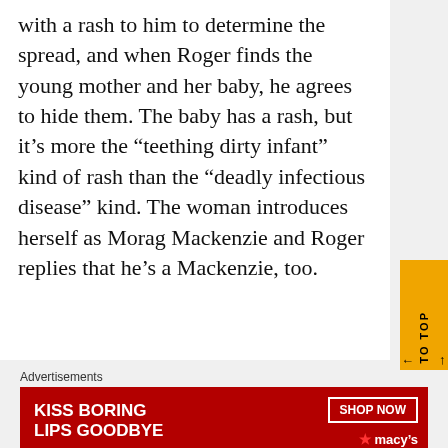with a rash to him to determine the spread, and when Roger finds the young mother and her baby, he agrees to hide them. The baby has a rash, but it's more the “teething dirty infant” kind of rash than the “deadly infectious disease” kind. The woman introduces herself as Morag Mackenzie and Roger replies that he’s a Mackenzie, too.
[Figure (other): Orange 'BACK TO TOP' vertical button on the right side]
[Figure (other): Close/X circle button]
Advertisements
[Figure (other): Macy's advertisement banner: KISS BORING LIPS GOODBYE with SHOP NOW button and Macy's logo star]